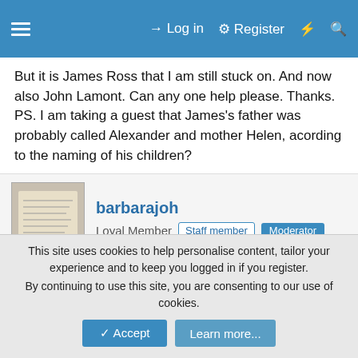≡  Log in  Register  ⚡  🔍
But it is James Ross that I am still stuck on. And now also John Lamont. Can any one help please. Thanks.
PS. I am taking a guest that James's father was probably called Alexander and mother Helen, acording to the naming of his children?
[Figure (photo): Avatar thumbnail of user barbarajoh showing a handwritten document]
barbarajoh
Loyal Member  Staff member  Moderator
17 June 2020  #2
Very difficult without knowing more about James and a bit more idea where he came from. Are there any other Rosses in the same area in South Africa who could be siblings? There are
This site uses cookies to help personalise content, tailor your experience and to keep you logged in if you register.
By continuing to use this site, you are consenting to our use of cookies.
✓ Accept  Learn more...